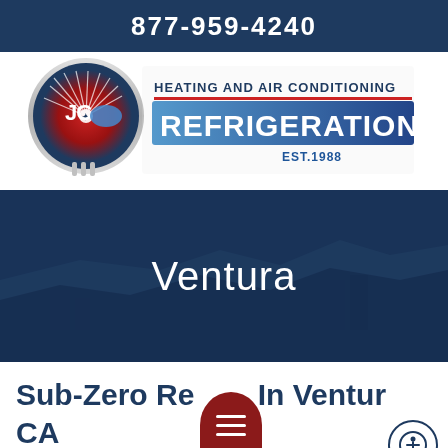877-959-4240
[Figure (logo): JC Refrigeration Heating and Air Conditioning logo with circular emblem and company name, Est. 1988]
Ventura
Sub-Zero Repair In Ventura CA